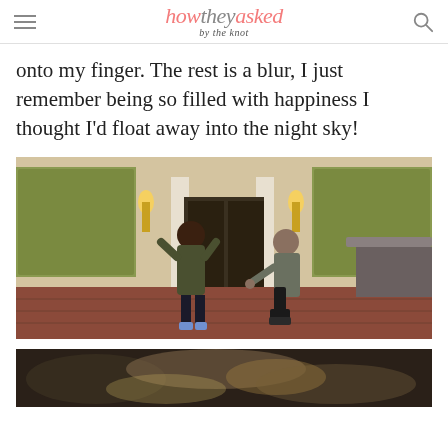how they asked by the knot
onto my finger. The rest is a blur, I just remember being so filled with happiness I thought I'd float away into the night sky!
[Figure (photo): A man kneeling on one knee proposing to a woman outdoors in front of an ornate building with columns and murals. The woman stands with her hands raised in surprise. Both are wearing casual jackets and the setting appears to be an elegant venue entrance with brick pavement.]
[Figure (photo): Close-up partial view of a hand showing an engagement ring, with blurred floral background.]